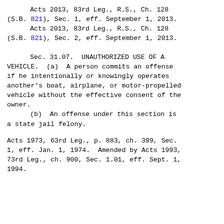Acts 2013, 83rd Leg., R.S., Ch. 128 (S.B. 821), Sec. 1, eff. September 1, 2013.
        Acts 2013, 83rd Leg., R.S., Ch. 128 (S.B. 821), Sec. 2, eff. September 1, 2013.
Sec. 31.07.  UNAUTHORIZED USE OF A VEHICLE.
(a)  A person commits an offense if he intentionally or knowingly operates another's boat, airplane, or motor-propelled vehicle without the effective consent of the owner.
(b)  An offense under this section is a state jail felony.
Acts 1973, 63rd Leg., p. 883, ch. 399, Sec. 1, eff. Jan. 1, 1974.  Amended by Acts 1993, 73rd Leg., ch. 900, Sec. 1.01, eff. Sept. 1, 1994.